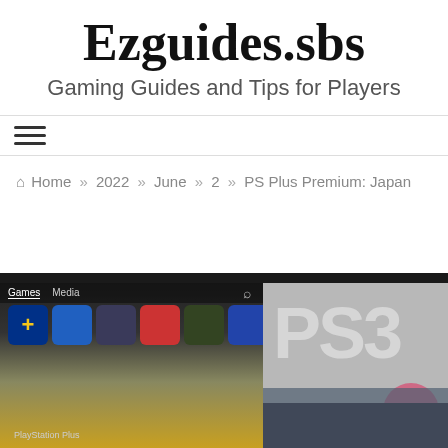Ezguides.sbs
Gaming Guides and Tips for Players
[Figure (screenshot): Navigation hamburger menu icon (three horizontal lines)]
Home » 2022 » June » 2 » PS Plus Premium: Japan
[Figure (screenshot): Screenshot showing PlayStation Store interface on left with game icons including PS Plus, and PS3 logo on grey background on right]